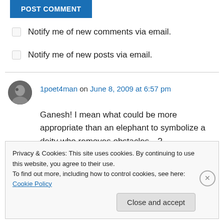[Figure (other): Blue 'POST COMMENT' button (partially visible, cropped at top)]
Notify me of new comments via email.
Notify me of new posts via email.
1poet4man on June 8, 2009 at 6:57 pm
Ganesh! I mean what could be more appropriate than an elephant to symbolize a deity who removes obstacles…?
Privacy & Cookies: This site uses cookies. By continuing to use this website, you agree to their use.
To find out more, including how to control cookies, see here: Cookie Policy